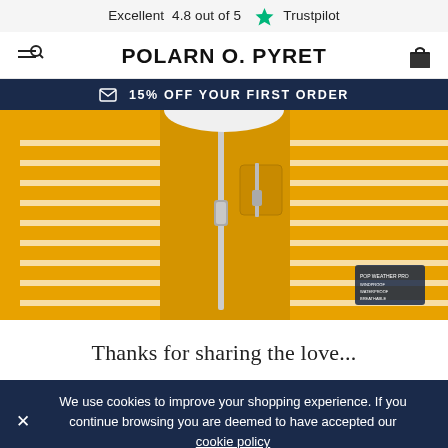Excellent  4.8 out of 5  ★ Trustpilot
POLARN O. PYRET
✉ 15% OFF YOUR FIRST ORDER
[Figure (photo): Close-up product photo of a yellow/mustard colored children's outdoor jacket with striped inner lining visible, showing zipper and chest pocket detail]
Thanks for sharing the love...
We use cookies to improve your shopping experience. If you continue browsing you are deemed to have accepted our cookie policy